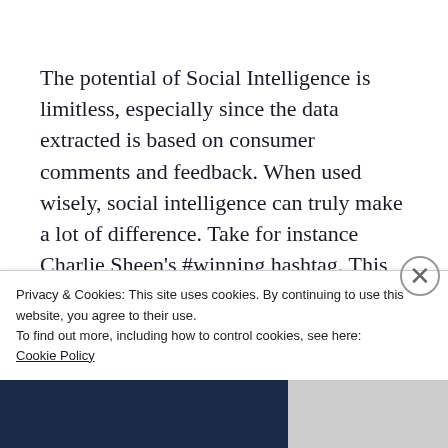The potential of Social Intelligence is limitless, especially since the data extracted is based on consumer comments and feedback. When used wisely, social intelligence can truly make a lot of difference. Take for instance Charlie Sheen's #winning hashtag. This single word managed to touch numerous companies like Target and
Privacy & Cookies: This site uses cookies. By continuing to use this website, you agree to their use.
To find out more, including how to control cookies, see here:
Cookie Policy
Close and accept